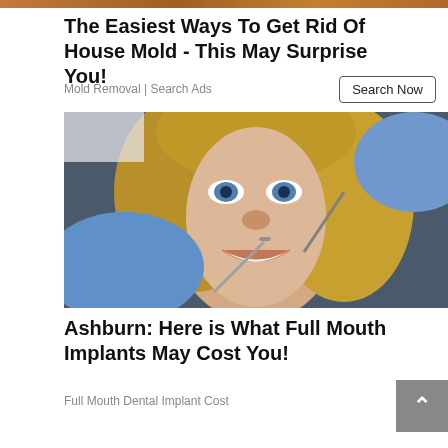[Figure (photo): Cropped top portion of a house mold related image with warm orange/brown tones]
The Easiest Ways To Get Rid Of House Mold - This May Surprise You!
Mold Removal | Search Ads
Search Now
[Figure (photo): Young blonde woman with blue eyes smiling at the dentist, with dental tools held by blue-gloved hands near her mouth]
Ashburn: Here is What Full Mouth Implants May Cost You!
Full Mouth Dental Implant Cost